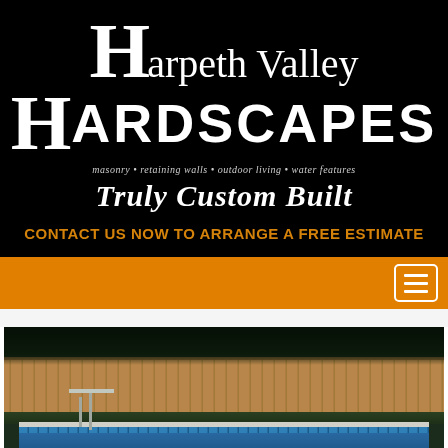[Figure (logo): Harpeth Valley Hardscapes logo on black background with large decorative H letters. Text reads: harpeth Valley HARDSCAPES with tagline masonry • retaining walls • outdoor living • water features]
Truly Custom Built
CONTACT US NOW TO ARRANGE A FREE ESTIMATE
[Figure (screenshot): Orange navigation bar with hamburger menu button on the right side]
[Figure (photo): Outdoor swimming pool at dusk with wooden fence in background, diving board visible, pool with blue tile trim]